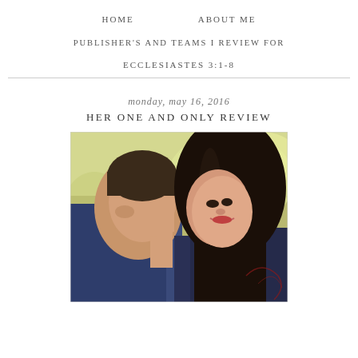HOME   ABOUT ME
PUBLISHER'S AND TEAMS I REVIEW FOR
ECCLESIASTES 3:1-8
monday, may 16, 2016
HER ONE AND ONLY REVIEW
[Figure (photo): A couple facing each other with foreheads nearly touching. The woman has long dark hair and is smiling. The man is on the left. They appear on a book cover with a soft outdoor background.]